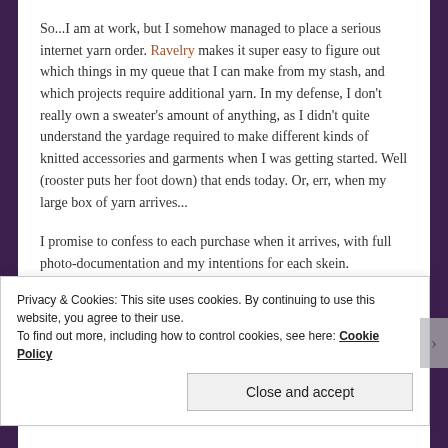So...I am at work, but I somehow managed to place a serious internet yarn order. Ravelry makes it super easy to figure out which things in my queue that I can make from my stash, and which projects require additional yarn. In my defense, I don't really own a sweater's amount of anything, as I didn't quite understand the yardage required to make different kinds of knitted accessories and garments when I was getting started. Well (rooster puts her foot down) that ends today. Or, err, when my large box of yarn arrives...
I promise to confess to each purchase when it arrives, with full photo-documentation and my intentions for each skein.
Happy Wednesday!
Privacy & Cookies: This site uses cookies. By continuing to use this website, you agree to their use.
To find out more, including how to control cookies, see here: Cookie Policy
Close and accept